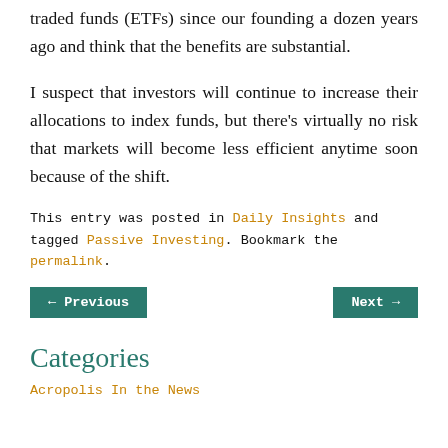traded funds (ETFs) since our founding a dozen years ago and think that the benefits are substantial.
I suspect that investors will continue to increase their allocations to index funds, but there's virtually no risk that markets will become less efficient anytime soon because of the shift.
This entry was posted in Daily Insights and tagged Passive Investing. Bookmark the permalink.
← Previous    Next →
Categories
Acropolis In the News